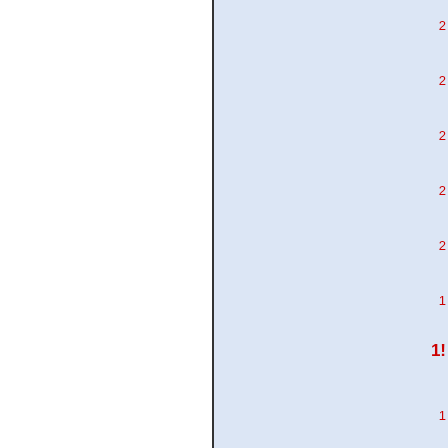[Figure (screenshot): Partial view of a search result table interface with light blue background and red numbers on the right side, cut off at top. Numbers visible include rows with values in 2xxx and 1xxx range, with one bold entry.]
Brief Search Result
| Number |
| --- |
| 9377 |
| 9773 |
| 9737 |
| 7072 |